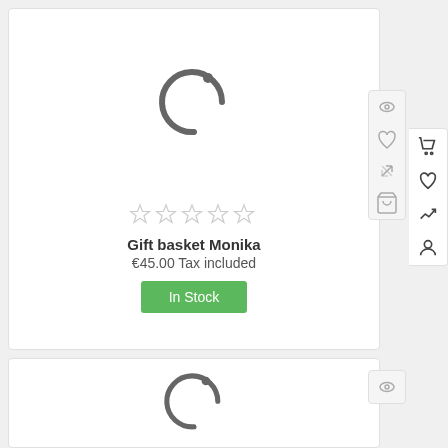[Figure (screenshot): E-commerce product listing page showing two product cards with loading spinners, star ratings, product name 'Gift basket Monika', price '€45.00 Tax included', 'In Stock' button, and sidebar action icons]
Gift basket Monika
€45.00 Tax included
In Stock